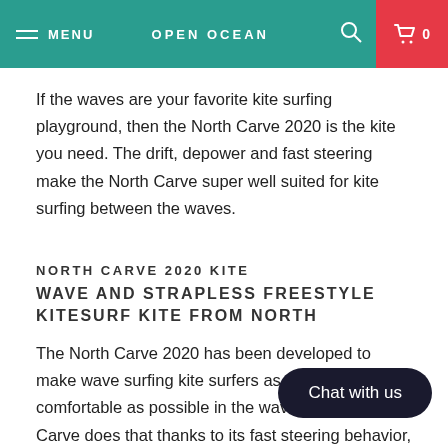MENU | OPEN OCEAN | 0
If the waves are your favorite kite surfing playground, then the North Carve 2020 is the kite you need. The drift, depower and fast steering make the North Carve super well suited for kite surfing between the waves.
NORTH CARVE 2020 KITE
WAVE AND STRAPLESS FREESTYLE KITESURF KITE FROM NORTH
The North Carve 2020 has been developed to make wave surfing kite surfers as easy and comfortable as possible in the waves. The North Carve does that thanks to its fast steering behavior, gradual power and a great drift when you surf along with the wave. For Jalou Langeree and Jesse Richman the choice is quickly made when they go into the waves: the Carve is their choice for a great session!